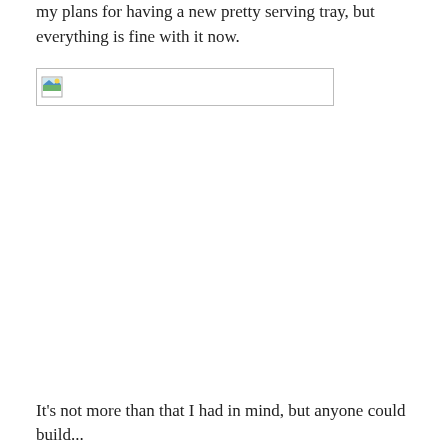my plans for having a new pretty serving tray, but everything is fine with it now.
[Figure (photo): Broken/missing image placeholder with small thumbnail icon in upper left corner]
It's not more than that I had in mind, but anyone could build...